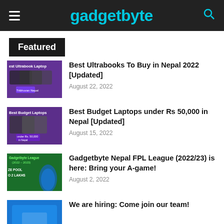gadgetbyte
Featured
Best Ultrabooks To Buy in Nepal 2022 [Updated]
August 22, 2022
Best Budget Laptops under Rs 50,000 in Nepal [Updated]
August 15, 2022
Gadgetbyte Nepal FPL League (2022/23) is here: Bring your A-game!
August 2, 2022
We are hiring: Come join our team!